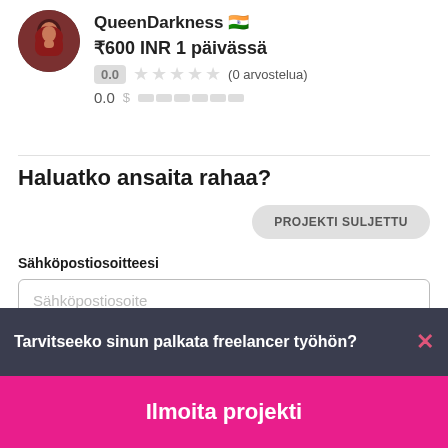[Figure (photo): Circular avatar photo of a person wearing a hijab with dark red/maroon background]
QueenDarkness
₹600 INR 1 päivässä
0.0 ★★★★★ (0 arvostelua)
0.0 $ ▬▬▬▬▬▬
Haluatko ansaita rahaa?
PROJEKTI SULJETTU
Sähköpostiosoitteesi
Sähköpostiosoite
Tarvitseeko sinun palkata freelancer työhön?
Ilmoita projekti